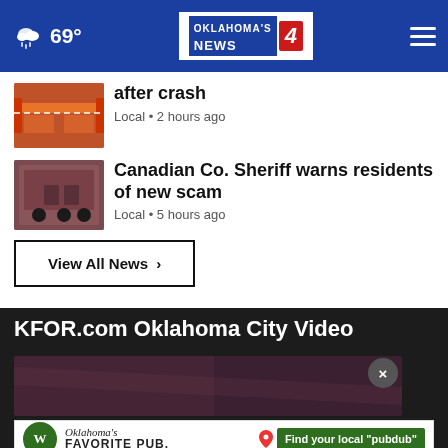Oklahoma's News 4 — 69° navigation bar
after crash
Local • 2 hours ago
Canadian Co. Sheriff warns residents of new scam
Local • 5 hours ago
View All News ›
KFOR.com Oklahoma City Video
[Figure (screenshot): Video thumbnail with dark background]
[Figure (other): Advertisement: Oklahoma's Favorite Pub — Find your local 'pubdub']